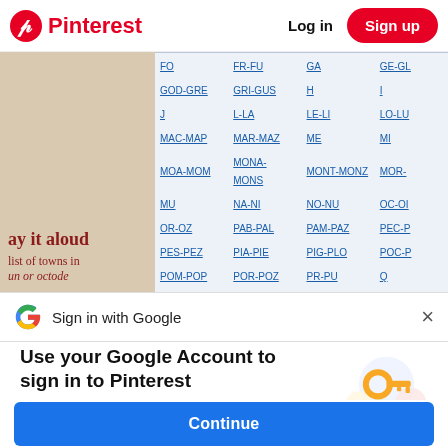Pinterest  Log in  Sign up
[Figure (screenshot): Pinterest website content showing a beige decorative panel on the left with text 'ay it aloud' and 'list of towns in...' in dark red serif font, and a grid of blue hyperlinks (FO, FR-FU, GA, GE-GL, GOD-GRE, GRI-GUS, H, I, J, L-LA, LE-LI, LO-LU, MAC-MAP, MAR-MAZ, ME, MI, MOA-MOM, MONA-MONS, MONT-MONZ, MOR-, MU, NA-NI, NO-NU, OC-OI, OR-OZ, PAB-PAL, PAM-PAZ, PEC-P, PES-PEZ, PIA-PIE, PIG-PLO, POC-P, POM-POP, POR-POZ, PR-PU, Q, RA-RE, RH-RI, ROD-RON, ROP-R, RO-ROC, RU, SAB-SAM, SAN-S) on a light blue background]
Sign in with Google
Use your Google Account to sign in to Pinterest
No more passwords to remember.
Signing in is fast, simple and secure.
Continue